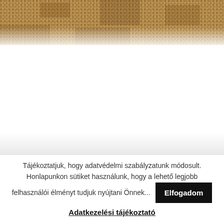[Figure (photo): Close-up of woven fabric or textile with a warm brown and beige tone, showing a cross/weave pattern.]
Tájékoztatjuk, hogy adatvédelmi szabályzatunk módosult. Honlapunkon sütiket használunk, hogy a lehető legjobb felhasználói élményt tudjuk nyújtani Önnek...
Elfogadom
Adatkezelési tájékoztató